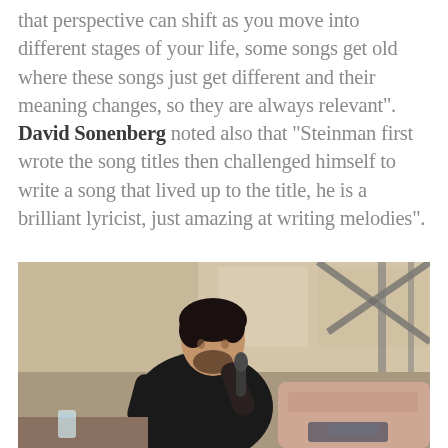that perspective can shift as you move into different stages of your life, some songs get old where these songs just get different and their meaning changes, so they are always relevant". David Sonenberg noted also that “Steinman first wrote the song titles then challenged himself to write a song that lived up to the title, he is a brilliant lyricist, just amazing at writing melodies”.
[Figure (photo): A man in a black jacket and turtleneck sitting and speaking into a microphone, with items on a surface beside him including a glass of water. Background shows a rehearsal or studio space with metal structures.]